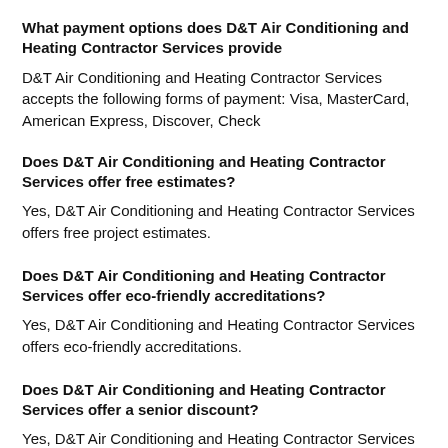What payment options does D&T Air Conditioning and Heating Contractor Services provide
D&T Air Conditioning and Heating Contractor Services accepts the following forms of payment: Visa, MasterCard, American Express, Discover, Check
Does D&T Air Conditioning and Heating Contractor Services offer free estimates?
Yes, D&T Air Conditioning and Heating Contractor Services offers free project estimates.
Does D&T Air Conditioning and Heating Contractor Services offer eco-friendly accreditations?
Yes, D&T Air Conditioning and Heating Contractor Services offers eco-friendly accreditations.
Does D&T Air Conditioning and Heating Contractor Services offer a senior discount?
Yes, D&T Air Conditioning and Heating Contractor Services